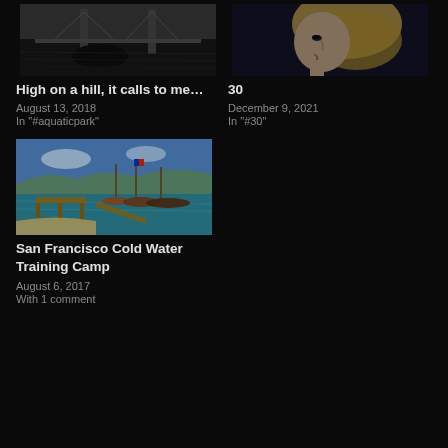[Figure (photo): Black and white photo of the Golden Gate Bridge from water level]
High on a hill, it calls to me…
August 13, 2018
In "#aquaticpark"
[Figure (photo): Profile portrait of a blonde woman in dark lighting]
30
December 9, 2021
In "#30"
[Figure (photo): Colorful harbor scene with boats and a pier in San Francisco]
San Francisco Cold Water Training Camp
August 6, 2017
With 1 comment